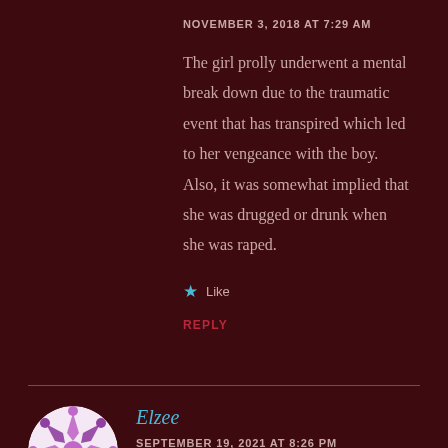NOVEMBER 3, 2018 AT 7:29 AM
The girl prolly underwent a mental break down due to the traumatic event that has transpired which led to her vengeance with the boy. Also, it was somewhat implied that she was drugged or drunk when she was raped.
Like
REPLY
Elzee
SEPTEMBER 19, 2021 AT 8:26 PM
WOW. I did NOT see that coming. That was incredible, I